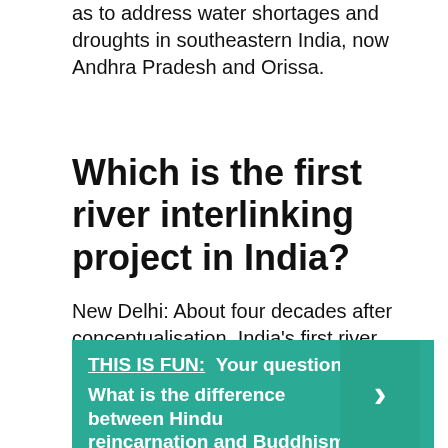as to address water shortages and droughts in southeastern India, now Andhra Pradesh and Orissa.
Which is the first river interlinking project in India?
New Delhi: About four decades after conceptualisation, India's first river interlinking project, connecting Ken river in Madhya Pradesh with Betwa in Uttar Pradesh, is finally set to get off the drawing board.
THIS IS FUN:  Your question: What is the difference between Hindu reincarnation and Buddhism